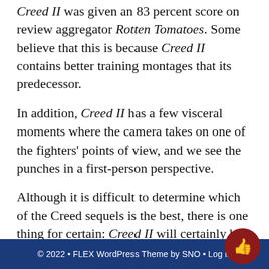Creed II was given an 83 percent score on review aggregator Rotten Tomatoes. Some believe that this is because Creed II contains better training montages that its predecessor.
In addition, Creed II has a few visceral moments where the camera takes on one of the fighters' points of view, and we see the punches in a first-person perspective.
Although it is difficult to determine which of the Creed sequels is the best, there is one thing for certain: Creed II will certainly be enjoyable for lovers of the classic film, Rocky.
© 2022 • FLEX WordPress Theme by SNO • Log in